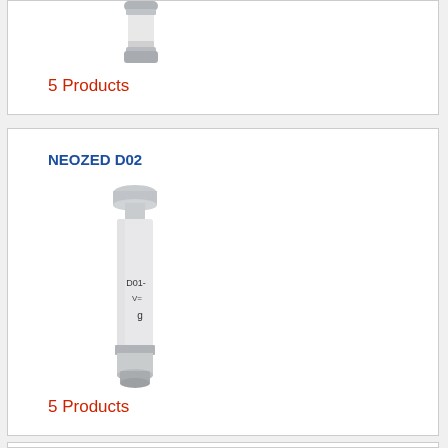[Figure (photo): Partial view of a NEOZED fuse element at top of page, cropped]
5 Products
NEOZED D02
[Figure (photo): NEOZED D02 fuse element, white cylindrical body with metallic top and bottom caps, labeled D01-, V=, g on the body]
5 Products